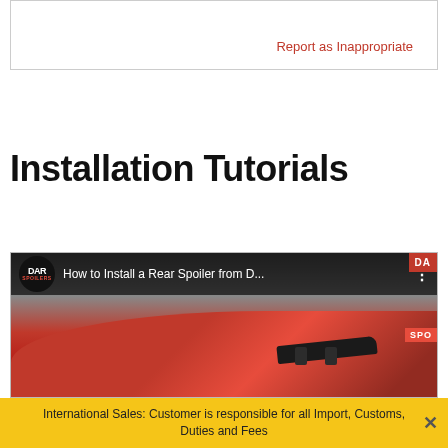Report as Inappropriate
Installation Tutorials
[Figure (screenshot): YouTube-style video thumbnail showing a DAR Spoilers logo, title 'How to Install a Rear Spoiler from D...' and an image of a red car with a rear spoiler installed, with a DAR SPOILERS badge visible.]
International Sales: Customer is responsible for all Import, Customs, Duties and Fees